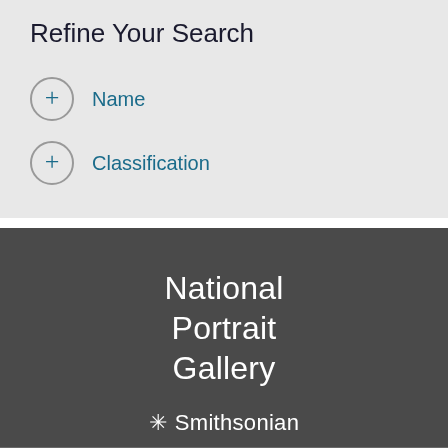Refine Your Search
+ Name
+ Classification
National Portrait Gallery
Smithsonian